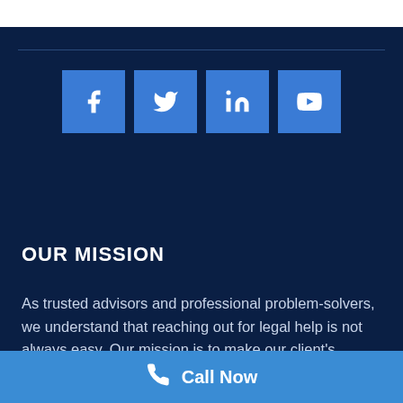[Figure (infographic): Social media icons: Facebook, Twitter, LinkedIn, YouTube — blue square buttons with white icons]
OUR MISSION
As trusted advisors and professional problem-solvers, we understand that reaching out for legal help is not always easy. Our mission is to make our client's experience with the
Call Now